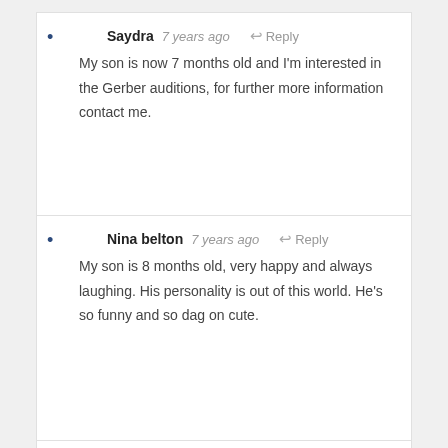Saydra  7 years ago  Reply
My son is now 7 months old and I'm interested in the Gerber auditions, for further more information contact me.
Nina belton  7 years ago  Reply
My son is 8 months old, very happy and always laughing. His personality is out of this world. He's so funny and so dag on cute.
twillia green  7 years ago  Reply